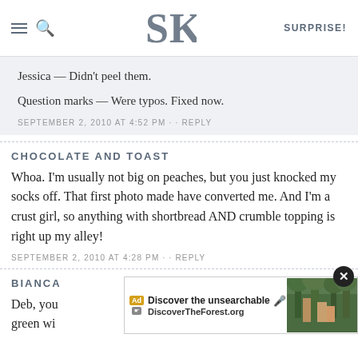SK SURPRISE!
Jessica — Didn't peel them.
Question marks — Were typos. Fixed now.
SEPTEMBER 2, 2010 AT 4:52 PM · · REPLY
CHOCOLATE AND TOAST
Whoa. I'm usually not big on peaches, but you just knocked my socks off. That first photo made have converted me. And I'm a crust girl, so anything with shortbread AND crumble topping is right up my alley!
SEPTEMBER 2, 2010 AT 4:28 PM · · REPLY
BIANCA
Deb, you ... ing me green wi ... rains
[Figure (screenshot): Advertisement overlay: 'Discover the unsearchable' with DiscoverTheForest.org URL and forest photo, with close button]